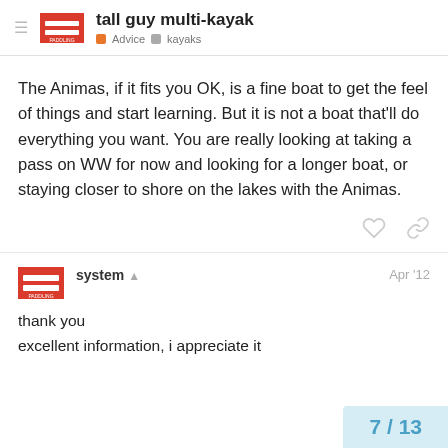tall guy multi-kayak | Advice | kayaks
The Animas, if it fits you OK, is a fine boat to get the feel of things and start learning. But it is not a boat that'll do everything you want. You are really looking at taking a pass on WW for now and looking for a longer boat, or staying closer to shore on the lakes with the Animas.
system  Apr '12
thank you
excellent information, i appreciate it
7 / 13